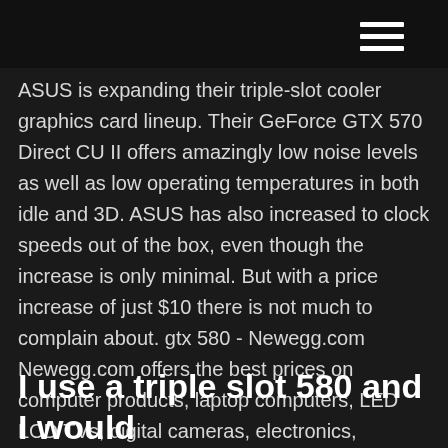ASUS is expanding their triple-slot cooler graphics card lineup. Their GeForce GTX 570 Direct CU II offers amazingly low noise levels as well as low operating temperatures in both idle and 3D. ASUS has also increased to clock speeds out of the box, even though the increase is only minimal. But with a price increase of just $10 there is not much to complain about. gtx 580 - Newegg.com Newegg.com offers the best prices on computer products, laptop computers, LED LCD TVs, digital cameras, electronics, unlocked phones, office supplies, and more with fast shipping and top-rated customer service. Newegg shopping upgraded ™ GTX 580 SLI - Triple Monitors - GeForce Forums
I use a triple slot 580 and I would